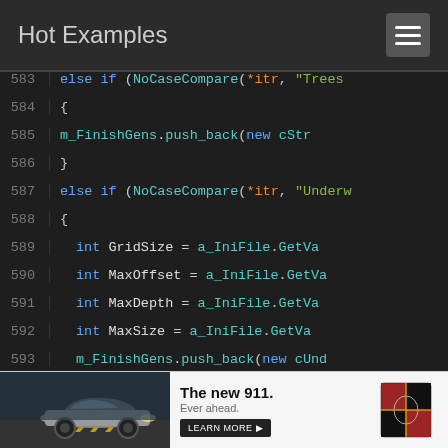Hot Examples
[Figure (screenshot): Code viewer showing C++ source lines 583-599 with syntax highlighting on a dark background]
[Figure (photo): Porsche 911 advertisement banner: 'The new 911. Ever ahead.' with car image and Porsche logo]